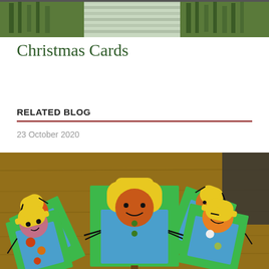[Figure (photo): Top cropped photo showing a child in a striped shirt with greenery/Christmas tree in the background]
Christmas Cards
RELATED BLOG
23 October 2020
[Figure (photo): Photo of handmade scarecrow Christmas cards laid out on a wooden table — green card bodies with yellow hats, orange/red round faces with drawn expressions, blue shirt bodies, black yarn hair/arms, and colorful buttons as decorations]